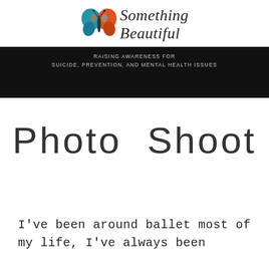[Figure (logo): Something Beautiful logo with a blue and orange butterfly and cursive text reading 'Something Beautiful']
RAISING AWARENESS FOR
SUICIDE, PREVENTION, AND MENTAL HEALTH ISSUES
Photo  Shoot
I've been around ballet most of my life, I've always been